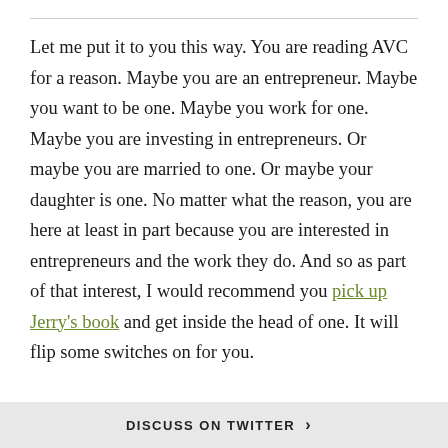Let me put it to you this way. You are reading AVC for a reason. Maybe you are an entrepreneur. Maybe you want to be one. Maybe you work for one. Maybe you are investing in entrepreneurs. Or maybe you are married to one. Or maybe your daughter is one. No matter what the reason, you are here at least in part because you are interested in entrepreneurs and the work they do. And so as part of that interest, I would recommend you pick up Jerry's book and get inside the head of one. It will flip some switches on for you.
DISCUSS ON TWITTER